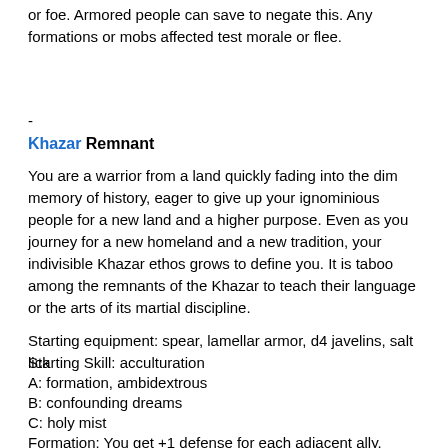or foe. Armored people can save to negate this. Any formations or mobs affected test morale or flee.
-
Khazar Remnant
You are a warrior from a land quickly fading into the dim memory of history, eager to give up your ignominious people for a new land and a higher purpose. Even as you journey for a new homeland and a new tradition, your indivisible Khazar ethos grows to define you. It is taboo among the remnants of the Khazar to teach their language or the arts of its martial discipline.
Starting equipment: spear, lamellar armor, d4 javelins, salt lick
Starting Skill: acculturation
A: formation, ambidextrous
B: confounding dreams
C: holy mist
D: mass attack
Formation: You get +1 defense for each adjacent ally.